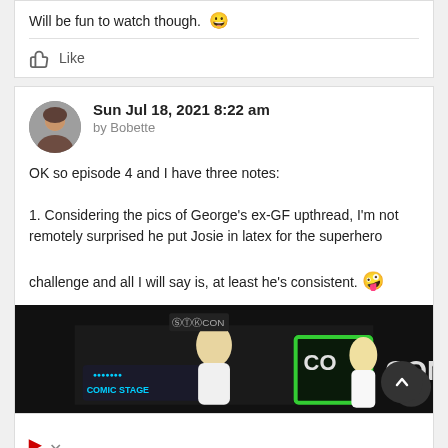Will be fun to watch though. 😄
👍 Like
Sun Jul 18, 2021 8:22 am
by Bobette
OK so episode 4 and I have three notes:

1. Considering the pics of George's ex-GF upthread, I'm not remotely surprised he put Josie in latex for the superhero challenge and all I will say is, at least he's consistent. 🤪
[Figure (photo): Screenshot of a convention stage with two blonde women, a 'Comic Stage' logo, an OzCon logo, and partial text 'CO CON' visible on the right.]